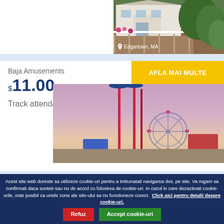[Figure (photo): Photo of a house exterior with wooden deck/porch, garden, white fence, taken in rainy weather. Location badge reads 'Edgartown, MA']
Baja Amusements
$11.00 per hour
Track attendant
AFLA MAI MULTE
[Figure (photo): Photo of an amusement park at dusk/sunset, showing tall ride poles and a Ferris wheel against a pink and purple sky]
Acest site web doreste sa utilizeze cookie-uri pentru a imbunatati navigarea dvs. pe site. Va rugam sa confirmati daca sunteti sau nu de acord cu folosirea de cookie-uri. In cazul in care dezactivati cookie-urile, este posibil ca unele zone ale site-ului sa nu functioneze corect. Click aici pentru detalii despre cookie-uri.
Refuz
Accept cookie-uri